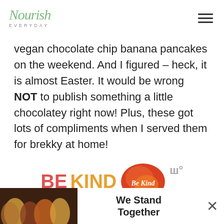Nourish EVERYDAY
vegan chocolate chip banana pancakes on the weekend. And I figured – heck, it is almost Easter. It would be wrong NOT to publish something a little chocolatey right now! Plus, these got lots of compliments when I served them for brekky at home!
[Figure (infographic): Advertisement banner with 'BE KIND' text in red and orange, a decorative blob graphic in warm red/orange tones, and small dot icons]
How great are banana and chocolate chips together? Banana
[Figure (infographic): Bottom advertisement bar showing group of people with arms around each other and text 'We Stand Together' with close button]